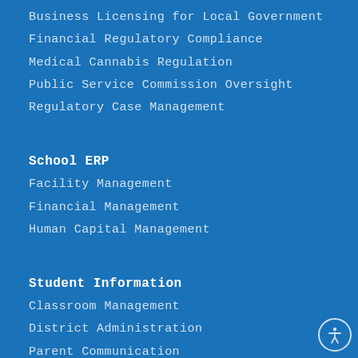Business Licensing for Local Government
Financial Regulatory Compliance
Medical Cannabis Regulation
Public Service Commission Oversight
Regulatory Case Management
School ERP
Facility Management
Financial Management
Human Capital Management
Student Information
Classroom Management
District Administration
Parent Communication
Student Data Management